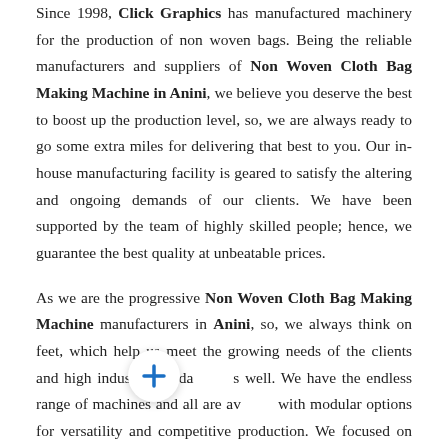Since 1998, Click Graphics has manufactured machinery for the production of non woven bags. Being the reliable manufacturers and suppliers of Non Woven Cloth Bag Making Machine in Anini, we believe you deserve the best to boost up the production level, so, we are always ready to go some extra miles for delivering that best to you. Our in-house manufacturing facility is geared to satisfy the altering and ongoing demands of our clients. We have been supported by the team of highly skilled people; hence, we guarantee the best quality at unbeatable prices.
As we are the progressive Non Woven Cloth Bag Making Machine manufacturers in Anini, so, we always think on feet, which help us meet the growing needs of the clients and high industry standards as well. We have the endless range of machines and all are available with modular options for versatility and competitive production. We focused on quality because it is our top most responsibility for the satisfaction of our clients. To check the